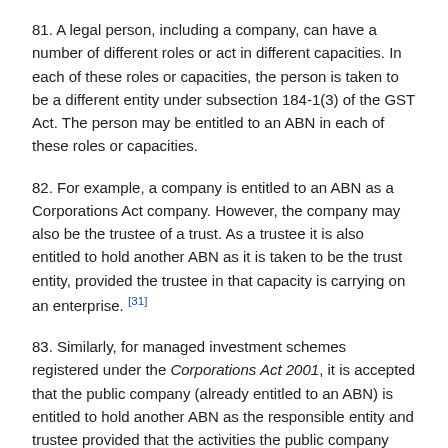81. A legal person, including a company, can have a number of different roles or act in different capacities. In each of these roles or capacities, the person is taken to be a different entity under subsection 184-1(3) of the GST Act. The person may be entitled to an ABN in each of these roles or capacities.
82. For example, a company is entitled to an ABN as a Corporations Act company. However, the company may also be the trustee of a trust. As a trustee it is also entitled to hold another ABN as it is taken to be the trust entity, provided the trustee in that capacity is carrying on an enterprise. [31]
83. Similarly, for managed investment schemes registered under the Corporations Act 2001, it is accepted that the public company (already entitled to an ABN) is entitled to hold another ABN as the responsible entity and trustee provided that the activities the public company does in that capacity amount to an enterprise.
Agent